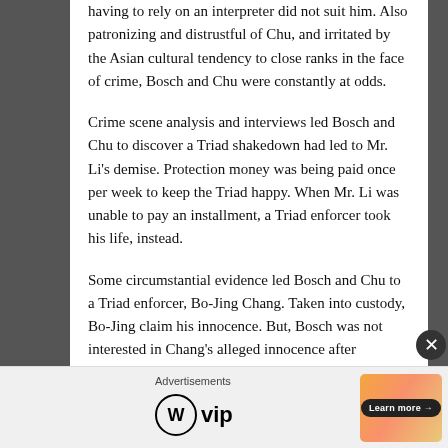having to rely on an interpreter did not suit him. Also patronizing and distrustful of Chu, and irritated by the Asian cultural tendency to close ranks in the face of crime, Bosch and Chu were constantly at odds.
Crime scene analysis and interviews led Bosch and Chu to discover a Triad shakedown had led to Mr. Li's demise. Protection money was being paid once per week to keep the Triad happy. When Mr. Li was unable to pay an installment, a Triad enforcer took his life, instead.
Some circumstantial evidence led Bosch and Chu to a Triad enforcer, Bo-Jing Chang. Taken into custody, Bo-Jing claim his innocence. But, Bosch was not interested in Chang's alleged innocence after receiving the most chilling phone call of his life.
Advertisements
[Figure (logo): WordPress VIP logo with circle W icon and vip text]
[Figure (photo): Advertisement banner with gradient orange/pink background and a Learn more button]